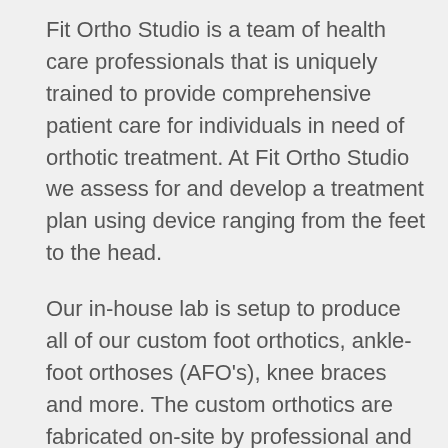Fit Ortho Studio is a team of health care professionals that is uniquely trained to provide comprehensive patient care for individuals in need of orthotic treatment. At Fit Ortho Studio we assess for and develop a treatment plan using device ranging from the feet to the head.
Our in-house lab is setup to produce all of our custom foot orthotics, ankle-foot orthoses (AFO's), knee braces and more. The custom orthotics are fabricated on-site by professional and trained technicians, which enables our patients to receive their devises in a much quicker time. All of our orthotics are made with high end quality material. At Fit Ortho Studio, we fabricate custom orthotics for any kind of misalignments, deformities, post-injury and post-surgery conditions. Prescribed orthoses can also provide support to those